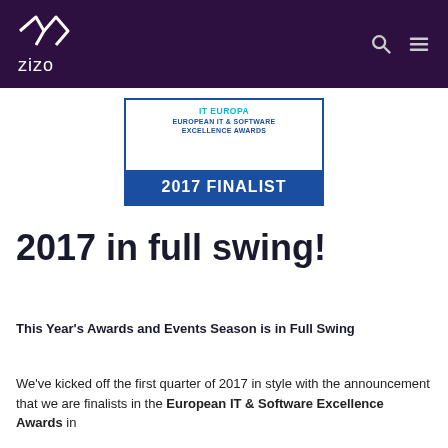zizo
[Figure (logo): IT Europa European IT & Software Excellence Awards 2017 Finalist badge]
2017 in full swing!
This Year's Awards and Events Season is in Full Swing
We've kicked off the first quarter of 2017 in style with the announcement that we are finalists in the European IT & Software Excellence Awards in